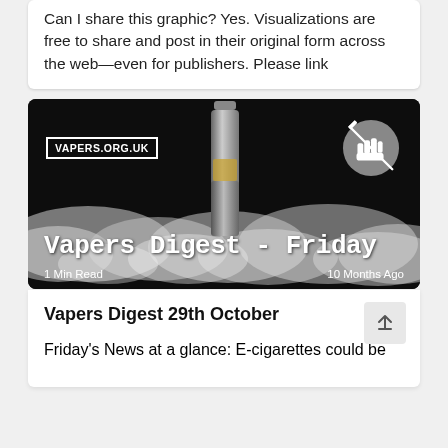Can I share this graphic? Yes. Visualizations are free to share and post in their original form across the web—even for publishers. Please link
[Figure (photo): Dark promotional image for 'Vapers Digest - Friday' showing a silver e-cigarette/vape device surrounded by white smoke against a black background. Top-left shows VAPERS.ORG.UK in a white bordered box. Top-right shows a circular grey icon with a raised fist. Bottom text reads 'Vapers Digest - Friday' in bold typewriter font, with '1 Min Read' on the left and '10 Months Ago' on the right.]
Vapers Digest 29th October
Friday's News at a glance: E-cigarettes could be